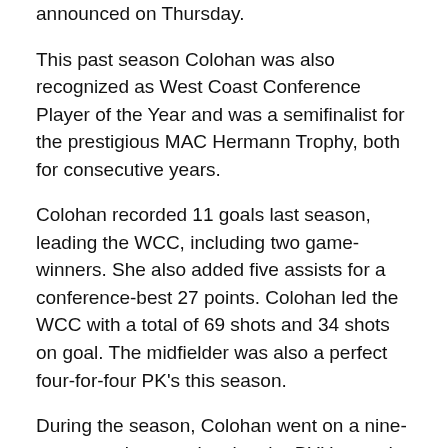announced on Thursday.
This past season Colohan was also recognized as West Coast Conference Player of the Year and was a semifinalist for the prestigious MAC Hermann Trophy, both for consecutive years.
Colohan recorded 11 goals last season, leading the WCC, including two game-winners. She also added five assists for a conference-best 27 points. Colohan led the WCC with a total of 69 shots and 34 shots on goal. The midfielder was also a perfect four-for-four PK's this season.
During the season, Colohan went on a nine-game scoring streak, tying the BYU record with Shauna Rohbock in 1996-97 for the most consecutive games with a goal.
Colohan now has 35 goals in her career, putting her ninth all-time on BYU's career scoring list. She has 24 assists. Colohan was drafted by the Orlando Pride with the 14th overall pick in the 2021 NWSL Draft.